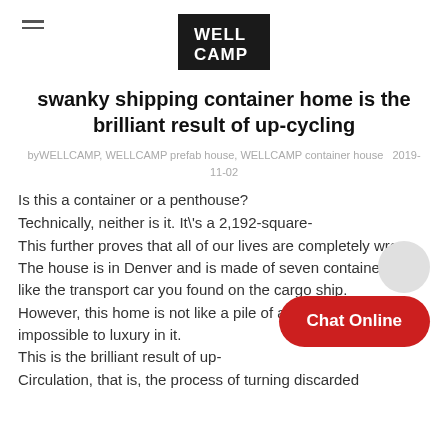WELLCAMP (logo)
swanky shipping container home is the brilliant result of up-cycling
by WELLCAMP, WELLCAMP prefab house, WELLCAMP container house  2019-11-02
Is this a container or a penthouse?
Technically, neither is it. It\'s a 2,192-square-
This further proves that all of our lives are completely wrong.
The house is in Denver and is made of seven containers, just like the transport car you found on the cargo ship.
However, this home is not like a pile of abandoned ste but it is impossible to luxury in it.
This is the brilliant result of up-
Circulation, that is, the process of turning discarded